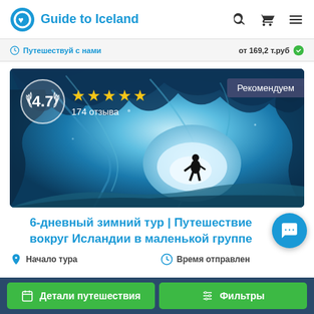Guide to Iceland
Путешествуй с нами · от 169,2 т.руб
[Figure (photo): A person silhouetted inside a dramatic blue glacial ice cave in Iceland, with turquoise ice formations overhead and a bright exit visible. Overlaid rating badge: 4.7 stars, 174 отзыва. Recommended badge: Рекомендуем.]
6-дневный зимний тур | Путешествие вокруг Исландии в маленькой группе
Начало тура
Время отправлен
Детали путешествия
Фильтры